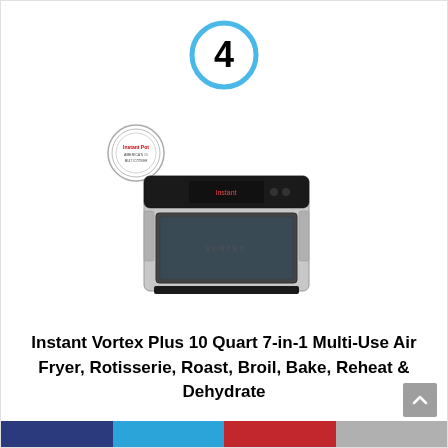[Figure (other): Number 4 inside a blue circle outline, indicating ranking position]
[Figure (photo): Instant Pot branded air fryer oven - Instant Vortex Plus, stainless steel with black glass door, digital display on top, sitting on white background with Instant Pot logo badge in upper left]
Instant Vortex Plus 10 Quart 7-in-1 Multi-Use Air Fryer, Rotisserie, Roast, Broil, Bake, Reheat & Dehydrate